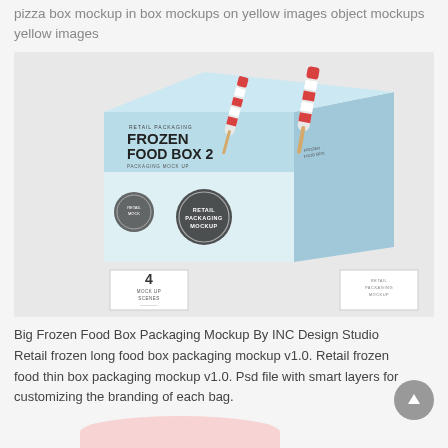pizza box mockup in box mockups on yellow images object mockups yellow images
[Figure (photo): Retail packaging mockup image showing a frozen food box labeled 'FROZEN FOOD BOX 2 PACKAGING MOCK UP' with ice cream popsicles on a light blue box, with corner badges showing '4 MOCK UP SCENES' and 'RETAIL PACKAGING MOCKUP']
Big Frozen Food Box Packaging Mockup By INC Design Studio Retail frozen long food box packaging mockup v1.0. Retail frozen food thin box packaging mockup v1.0. Psd file with smart layers for customizing the branding of each bag.